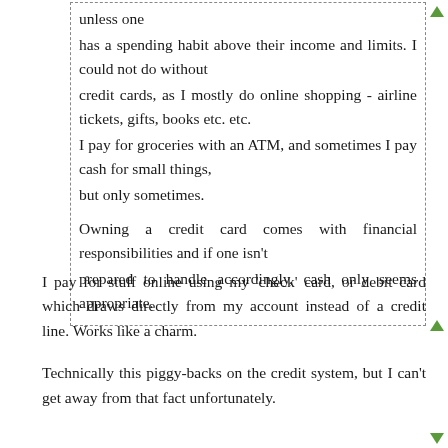unless one
has a spending habit above their income and limits. I could not do without
credit cards, as I mostly do online shopping - airline tickets, gifts, books etc. etc.
I pay for groceries with an ATM, and sometimes I pay cash for small things,
but only sometimes.

Owning a credit card comes with financial responsibilities and if one isn't
prepared to handle accordingly, cash only seems appropriate.
I pay for stuff online using my 'check' card, or debit card which draws directly from my account instead of a credit line. Works like a charm.
Technically this piggy-backs on the credit system, but I can't get away from that fact unfortunately.